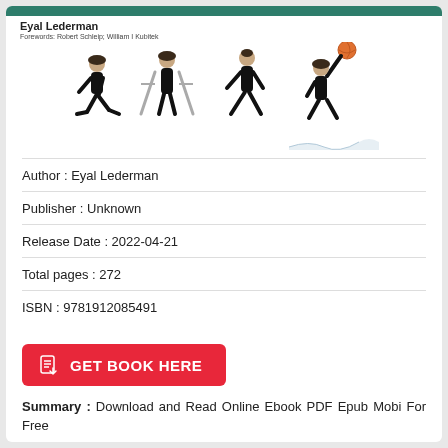[Figure (illustration): Book cover showing progression of a person from kneeling injured to standing playing basketball, with author name Eyal Lederman and forewords by Robert Schleip, William I Kubitek. Green top bar.]
Author : Eyal Lederman
Publisher : Unknown
Release Date : 2022-04-21
Total pages : 272
ISBN : 9781912085491
GET BOOK HERE
Summary : Download and Read Online Ebook PDF Epub Mobi For Free